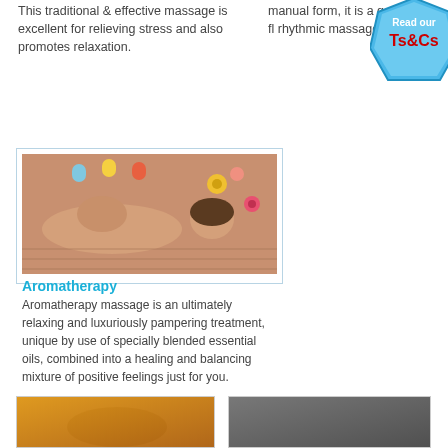This traditional & effective massage is excellent for relieving stress and also promotes relaxation.
manual form, it is a gentle, fl… rhythmic massage.
[Figure (infographic): Blue hexagonal badge with text 'Read our Ts&Cs' in red and white]
[Figure (photo): Woman lying down with flowers and candles around her, aromatherapy spa setting]
Aromatherapy
Aromatherapy massage is an ultimately relaxing and luxuriously pampering treatment, unique by use of specially blended essential oils, combined into a healing and balancing mixture of positive feelings just for you.
[Figure (photo): Partial photo at bottom left, warm orange/yellow tones]
[Figure (photo): Partial photo at bottom right, grey/dark tones]